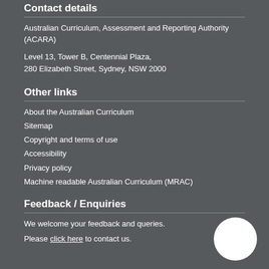Contact details
Australian Curriculum, Assessment and Reporting Authority (ACARA)
Level 13, Tower B, Centennial Plaza,
280 Elizabeth Street, Sydney, NSW 2000
Other links
About the Australian Curriculum
Sitemap
Copyright and terms of use
Accessibility
Privacy policy
Machine readable Australian Curriculum (MRAC)
Feedback / Enquiries
We welcome your feedback and queries.
Please click here to contact us.